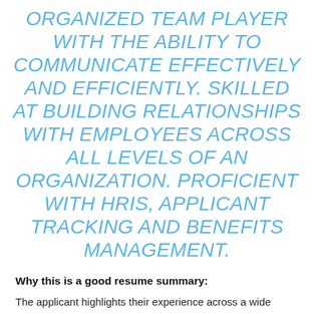ORGANIZED TEAM PLAYER WITH THE ABILITY TO COMMUNICATE EFFECTIVELY AND EFFICIENTLY. SKILLED AT BUILDING RELATIONSHIPS WITH EMPLOYEES ACROSS ALL LEVELS OF AN ORGANIZATION. PROFICIENT WITH HRIS, APPLICANT TRACKING AND BENEFITS MANAGEMENT.
Why this is a good resume summary:
The applicant highlights their experience across a wide range of HR functions from the very first sentence, and continues this pattern throughout the rest of the summary. They then use easily digestible langue to showcase their hard skills and soft skills . They also integrate a variety of keywords to